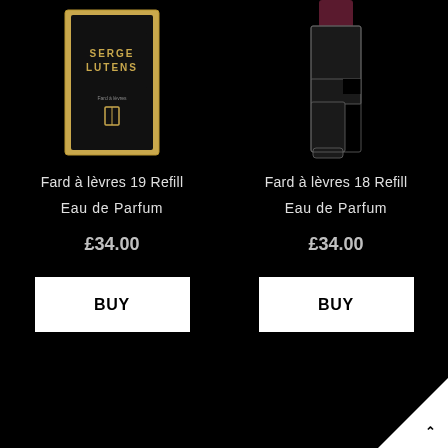[Figure (photo): Serge Lutens perfume bottle - Fard à lèvres 19 Refill, rectangular gold and black bottle with brand label]
Fard à lèvres 19 Refill
Eau de Parfum
£34.00
BUY
[Figure (photo): Serge Lutens lipstick refill - Fard à lèvres 18 Refill, dark burgundy lipstick with stepped black case]
Fard à lèvres 18 Refill
Eau de Parfum
£34.00
BUY